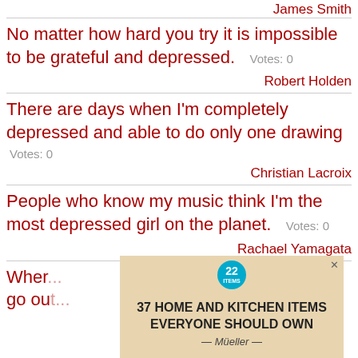James Smith
No matter how hard you try it is impossible to be grateful and depressed.   Votes: 0
Robert Holden
There are days when I'm completely depressed and able to do only one drawing   Votes: 0
Christian Lacroix
People who know my music think I'm the most depressed girl on the planet.   Votes: 0
Rachael Yamagata
Whe... g, I go ou...
[Figure (screenshot): Advertisement overlay showing '37 HOME AND KITCHEN ITEMS EVERYONE SHOULD OWN' with Mueller branding, a teal badge with '22', and a close button X]